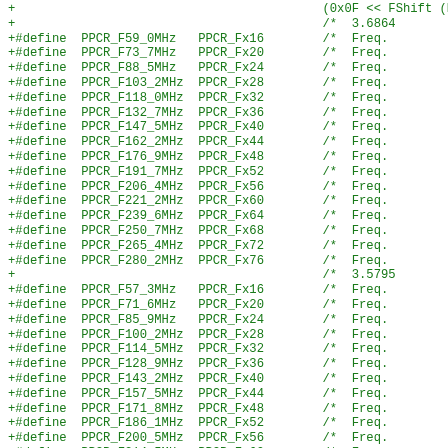+                                          (0x0F << FShift (PPCR_CCF))
+                                          /*  3.6864
+#define  PPCR_F59_0MHz   PPCR_Fx16        /*  Freq.
+#define  PPCR_F73_7MHz   PPCR_Fx20        /*  Freq.
+#define  PPCR_F88_5MHz   PPCR_Fx24        /*  Freq.
+#define  PPCR_F103_2MHz  PPCR_Fx28        /*  Freq.
+#define  PPCR_F118_0MHz  PPCR_Fx32        /*  Freq.
+#define  PPCR_F132_7MHz  PPCR_Fx36        /*  Freq.
+#define  PPCR_F147_5MHz  PPCR_Fx40        /*  Freq.
+#define  PPCR_F162_2MHz  PPCR_Fx44        /*  Freq.
+#define  PPCR_F176_9MHz  PPCR_Fx48        /*  Freq.
+#define  PPCR_F191_7MHz  PPCR_Fx52        /*  Freq.
+#define  PPCR_F206_4MHz  PPCR_Fx56        /*  Freq.
+#define  PPCR_F221_2MHz  PPCR_Fx60        /*  Freq.
+#define  PPCR_F239_6MHz  PPCR_Fx64        /*  Freq.
+#define  PPCR_F250_7MHz  PPCR_Fx68        /*  Freq.
+#define  PPCR_F265_4MHz  PPCR_Fx72        /*  Freq.
+#define  PPCR_F280_2MHz  PPCR_Fx76        /*  Freq.
+                                          /*  3.5795
+#define  PPCR_F57_3MHz   PPCR_Fx16        /*  Freq.
+#define  PPCR_F71_6MHz   PPCR_Fx20        /*  Freq.
+#define  PPCR_F85_9MHz   PPCR_Fx24        /*  Freq.
+#define  PPCR_F100_2MHz  PPCR_Fx28        /*  Freq.
+#define  PPCR_F114_5MHz  PPCR_Fx32        /*  Freq.
+#define  PPCR_F128_9MHz  PPCR_Fx36        /*  Freq.
+#define  PPCR_F143_2MHz  PPCR_Fx40        /*  Freq.
+#define  PPCR_F157_5MHz  PPCR_Fx44        /*  Freq.
+#define  PPCR_F171_8MHz  PPCR_Fx48        /*  Freq.
+#define  PPCR_F186_1MHz  PPCR_Fx52        /*  Freq.
+#define  PPCR_F200_5MHz  PPCR_Fx56        /*  Freq.
+#define  PPCR_F214_5MHz  PPCR_Fx60        /*  Freq.